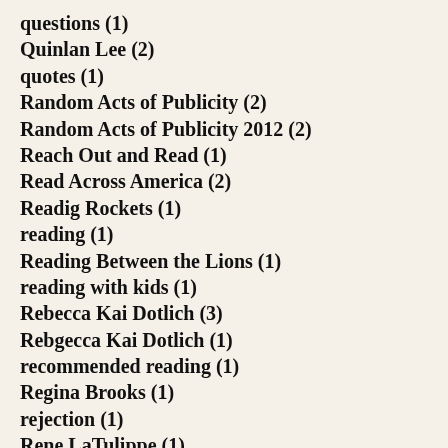questions (1)
Quinlan Lee (2)
quotes (1)
Random Acts of Publicity (2)
Random Acts of Publicity 2012 (2)
Reach Out and Read (1)
Read Across America (2)
Readig Rockets (1)
reading (1)
Reading Between the Lions (1)
reading with kids (1)
Rebecca Kai Dotlich (3)
Rebgecca Kai Dotlich (1)
recommended reading (1)
Regina Brooks (1)
rejection (1)
Rene LaTulippe (1)
Rensellaer (1)
Rensselaer IN (1)